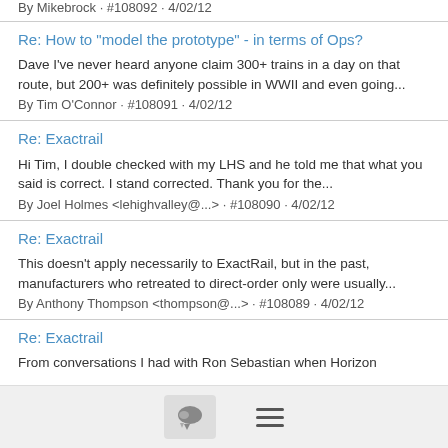By Mikebrock · #108092 · 4/02/12
Re: How to "model the prototype" - in terms of Ops?
Dave I've never heard anyone claim 300+ trains in a day on that route, but 200+ was definitely possible in WWII and even going...
By Tim O'Connor · #108091 · 4/02/12
Re: Exactrail
Hi Tim, I double checked with my LHS and he told me that what you said is correct. I stand corrected. Thank you for the...
By Joel Holmes <lehighvalley@...> · #108090 · 4/02/12
Re: Exactrail
This doesn't apply necessarily to ExactRail, but in the past, manufacturers who retreated to direct-order only were usually...
By Anthony Thompson <thompson@...> · #108089 · 4/02/12
Re: Exactrail
From conversations I had with Ron Sebastian when Horizon